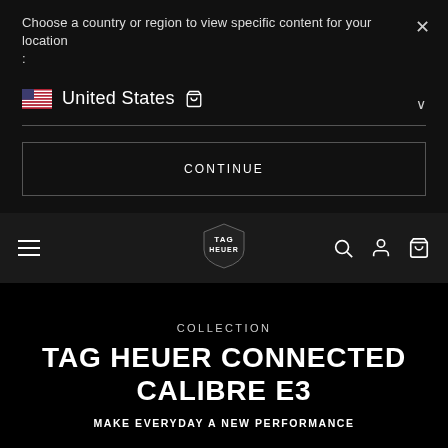Choose a country or region to view specific content for your location :
United States
CONTINUE
[Figure (screenshot): TAG Heuer navigation bar with hamburger menu, TAG Heuer shield logo, search icon, account icon, and bag icon on dark background]
COLLECTION
TAG HEUER CONNECTED CALIBRE E3
MAKE EVERYDAY A NEW PERFORMANCE